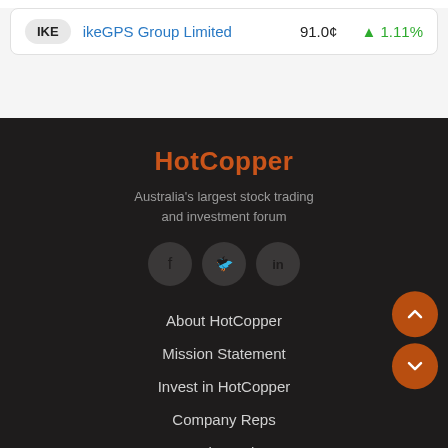| Ticker | Company | Price | Change |
| --- | --- | --- | --- |
| IKE | ikeGPS Group Limited | 91.0¢ | ▲ 1.11% |
HotCopper
Australia's largest stock trading and investment forum
[Figure (illustration): Three social media icons: Facebook, Twitter, LinkedIn in dark grey circles]
About HotCopper
Mission Statement
Invest in HotCopper
Company Reps
Help Desk
Terms of Use